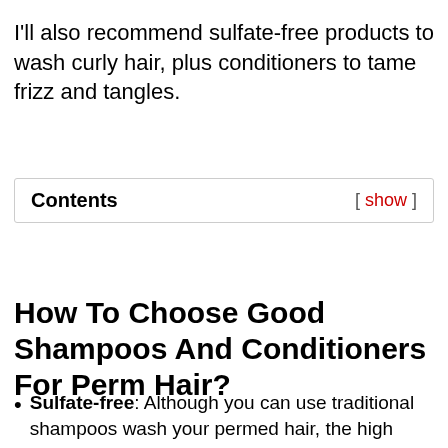I'll also recommend sulfate-free products to wash curly hair, plus conditioners to tame frizz and tangles.
| Contents | [ show ] |
| --- | --- |
How To Choose Good Shampoos And Conditioners For Perm Hair?
Sulfate-free: Although you can use traditional shampoos wash your permed hair, the high chemical content can be the main cause of your dry and frizzy hair. The only way to go for better